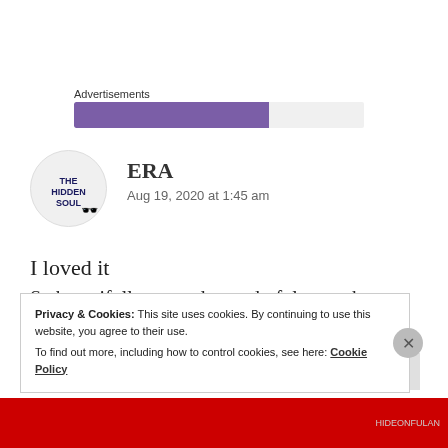Advertisements
[Figure (other): Advertisement bar with purple fill on grey background]
[Figure (other): Circular avatar logo showing THE HIDDEN SOUL text with glasses icon]
ERA
Aug 19, 2020 at 1:45 am
I loved it
So beautifully penned, wonderful poem by you both
💙💙💙💙
Privacy & Cookies: This site uses cookies. By continuing to use this website, you agree to their use.
To find out more, including how to control cookies, see here: Cookie Policy
Close and accept